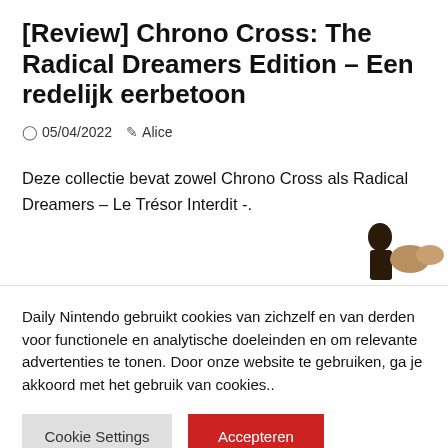[Review] Chrono Cross: The Radical Dreamers Edition – Een redelijk eerbetoon
05/04/2022  Alice
Deze collectie bevat zowel Chrono Cross als Radical Dreamers – Le Trésor Interdit -.
[Figure (photo): Partial view of an image, dark figures visible against light background]
Daily Nintendo gebruikt cookies van zichzelf en van derden voor functionele en analytische doeleinden en om relevante advertenties te tonen. Door onze website te gebruiken, ga je akkoord met het gebruik van cookies..
Cookie Settings  Accepteren
Lees meer